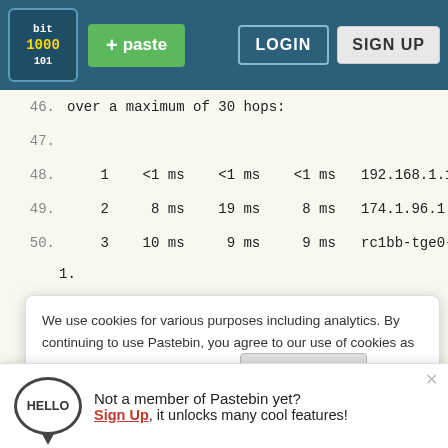[Figure (screenshot): Pastebin website header with logo, green paste button, LOGIN and SIGN UP buttons on dark teal background]
46.    over a maximum of 30 hops:
47.
48.     1    <1 ms    <1 ms    <1 ms   192.168.1.1
49.     2     8 ms    19 ms     8 ms   174.1.96.1
50.     3    10 ms     9 ms     9 ms   rc1bb-tge0-8-0-3-1.
51.    be
52.
53.     6    12 ms    12 ms    12 ms   52.95.52.78
54.
55.
56.     9       *        *        *    Request timed out.
57.    10       *        *        *    Request timed out.
58.    11       *        *        *    Request timed out.
59.    12    14 ms    16 ms    14 ms   server-13-33-151-67.sea4.r.cloudfront.net [13.33.151.67]
We use cookies for various purposes including analytics. By continuing to use Pastebin, you agree to our use of cookies as described in the Cookies Policy.
Not a member of Pastebin yet? Sign Up, it unlocks many cool features!